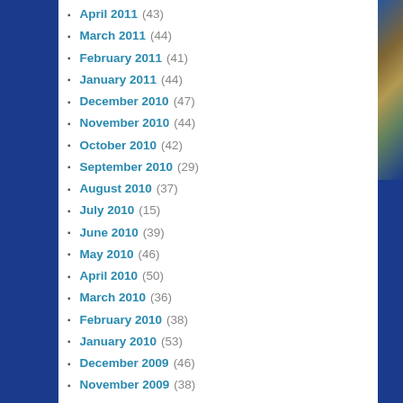April 2011 (43)
March 2011 (44)
February 2011 (41)
January 2011 (44)
December 2010 (47)
November 2010 (44)
October 2010 (42)
September 2010 (29)
August 2010 (37)
July 2010 (15)
June 2010 (39)
May 2010 (46)
April 2010 (50)
March 2010 (36)
February 2010 (38)
January 2010 (53)
December 2009 (46)
November 2009 (38)
October 2009 (37)
September 2009 (24)
August 2009 (11)
July 2009 (31)